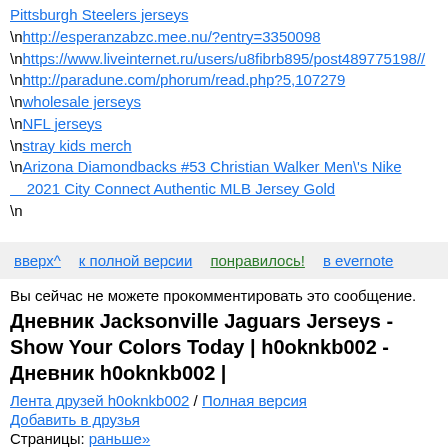Pittsburgh Steelers jerseys
\nhttp://esperanzabzc.mee.nu/?entry=3350098
\nhttps://www.liveinternet.ru/users/u8fibrb895/post489775198//
\nhttp://paradune.com/phorum/read.php?5,107279
\nwholesale jerseys
\nNFL jerseys
\nstray kids merch
\nArizona Diamondbacks #53 Christian Walker Men\'s Nike 2021 City Connect Authentic MLB Jersey Gold
\n
вверх^   к полной версии   понравилось!   в evernote
Вы сейчас не можете прокомментировать это сообщение.
Дневник Jacksonville Jaguars Jerseys - Show Your Colors Today | h0oknkb002 - Дневник h0oknkb002 |
Лента друзей h0oknkb002 / Полная версия
Добавить в друзья
Страницы: раньше»